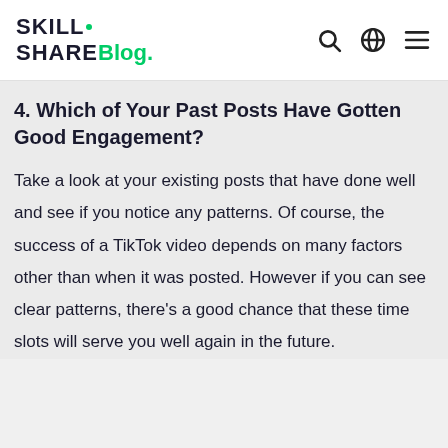Skillshare Blog.
4. Which of Your Past Posts Have Gotten Good Engagement?
Take a look at your existing posts that have done well and see if you notice any patterns. Of course, the success of a TikTok video depends on many factors other than when it was posted. However if you can see clear patterns, there’s a good chance that these time slots will serve you well again in the future.